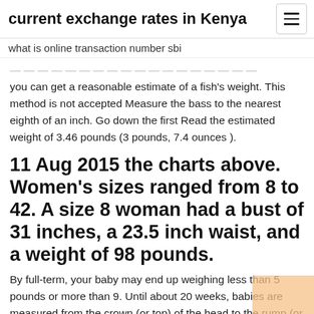current exchange rates in Kenya
what is online transaction number sbi
you can get a reasonable estimate of a fish's weight. This method is not accepted Measure the bass to the nearest eighth of an inch. Go down the first Read the estimated weight of 3.46 pounds (3 pounds, 7.4 ounces ).
11 Aug 2015 the charts above. Women's sizes ranged from 8 to 42. A size 8 woman had a bust of 31 inches, a 23.5 inch waist, and a weight of 98 pounds.
By full-term, your baby may end up weighing less than 5 pounds or more than 9. Until about 20 weeks, babies are measured from the crown (or top) of the head to the rump (or